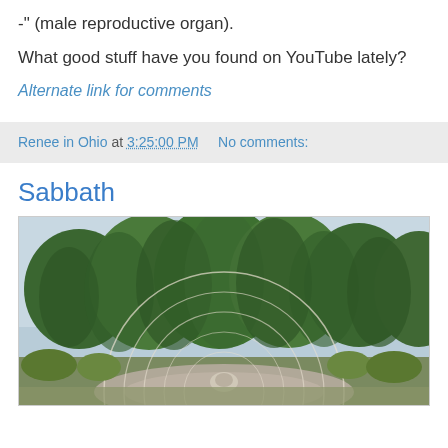-" (male reproductive organ).
What good stuff have you found on YouTube lately?
Alternate link for comments
Renee in Ohio at 3:25:00 PM   No comments:
Sabbath
[Figure (photo): Outdoor garden or memorial area with tall green weeping trees and shrubs in the background, a stone or concrete labyrinth path visible in the foreground, overcast sky above.]